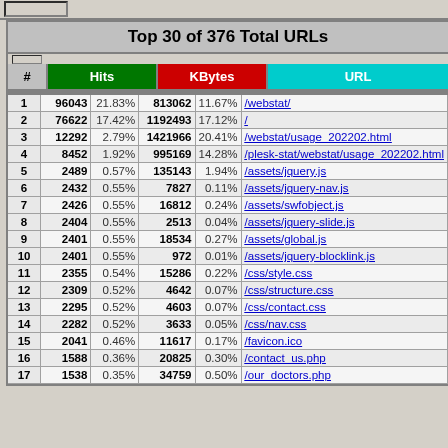Top 30 of 376 Total URLs
| # | Hits |  | KBytes |  | URL |
| --- | --- | --- | --- | --- | --- |
| 1 | 96043 | 21.83% | 813062 | 11.67% | /webstat/ |
| 2 | 76622 | 17.42% | 1192493 | 17.12% | / |
| 3 | 12292 | 2.79% | 1421966 | 20.41% | /webstat/usage_202202.html |
| 4 | 8452 | 1.92% | 995169 | 14.28% | /plesk-stat/webstat/usage_202202.html |
| 5 | 2489 | 0.57% | 135143 | 1.94% | /assets/jquery.js |
| 6 | 2432 | 0.55% | 7827 | 0.11% | /assets/jquery-nav.js |
| 7 | 2426 | 0.55% | 16812 | 0.24% | /assets/swfobject.js |
| 8 | 2404 | 0.55% | 2513 | 0.04% | /assets/jquery-slide.js |
| 9 | 2401 | 0.55% | 18534 | 0.27% | /assets/global.js |
| 10 | 2401 | 0.55% | 972 | 0.01% | /assets/jquery-blocklink.js |
| 11 | 2355 | 0.54% | 15286 | 0.22% | /css/style.css |
| 12 | 2309 | 0.52% | 4642 | 0.07% | /css/structure.css |
| 13 | 2295 | 0.52% | 4603 | 0.07% | /css/contact.css |
| 14 | 2282 | 0.52% | 3633 | 0.05% | /css/nav.css |
| 15 | 2041 | 0.46% | 11617 | 0.17% | /favicon.ico |
| 16 | 1588 | 0.36% | 20825 | 0.30% | /contact_us.php |
| 17 | 1538 | 0.35% | 34759 | 0.50% | /our_doctors.php |